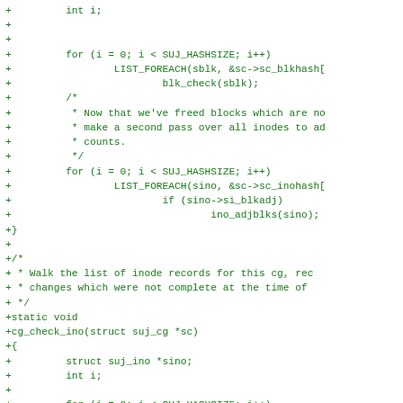[Figure (other): Source code diff showing C code additions for block/inode hash checking and cg_check_ino function definition]